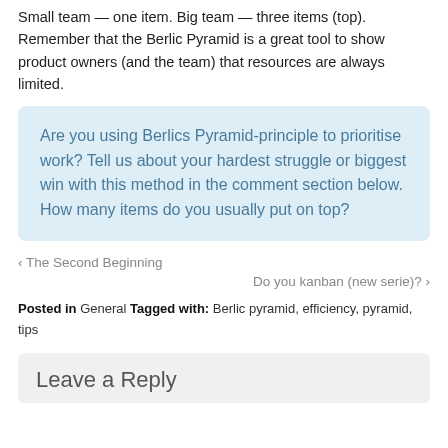Small team — one item. Big team — three items (top). Remember that the Berlic Pyramid is a great tool to show product owners (and the team) that resources are always limited.
Are you using Berlics Pyramid-principle to prioritise work? Tell us about your hardest struggle or biggest win with this method in the comment section below. How many items do you usually put on top?
‹ The Second Beginning
Do you kanban (new serie)? ›
Posted in General Tagged with: Berlic pyramid, efficiency, pyramid, tips
Leave a Reply